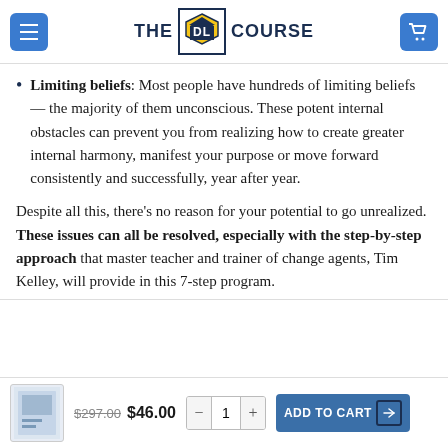THE DL COURSE
Limiting beliefs: Most people have hundreds of limiting beliefs — the majority of them unconscious. These potent internal obstacles can prevent you from realizing how to create greater internal harmony, manifest your purpose or move forward consistently and successfully, year after year.
Despite all this, there's no reason for your potential to go unrealized. These issues can all be resolved, especially with the step-by-step approach that master teacher and trainer of change agents, Tim Kelley, will provide in this 7-step program.
$297.00  $46.00  - 1 +  ADD TO CART